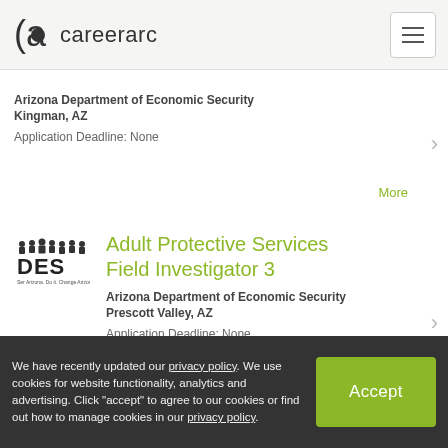careerarc
Arizona Department of Economic Security
Kingman, AZ
Application Deadline: None
More
Adult Protective Services Field Investigator 3
Arizona Department of Economic Security
Prescott Valley, AZ
Application Deadline: None
More
BUSINESS ANALYST
Arizona Department of Economic Security
Phoenix, AZ
We have recently updated our privacy policy. We use cookies for website functionality, analytics and advertising. Click "accept" to agree to our cookies or find out how to manage cookies in our privacy policy.